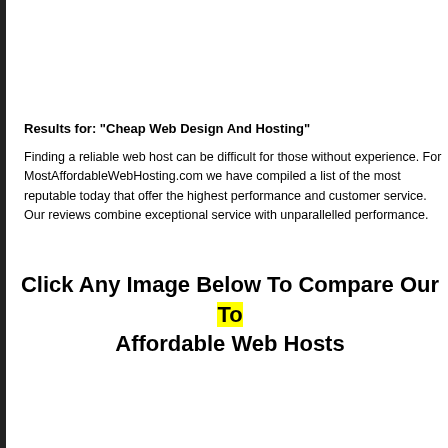Results for: "Cheap Web Design And Hosting"
Finding a reliable web host can be difficult for those without experience. For MostAffordableWebHosting.com we have compiled a list of the most reputable hosts today that offer the highest performance and customer service. Our reviews combine exceptional service with unparallelled performance.
Click Any Image Below To Compare Our Top Affordable Web Hosts